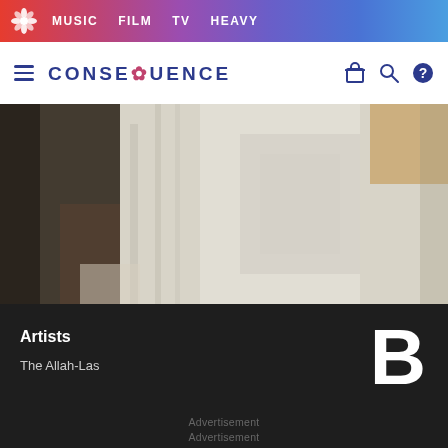MUSIC  FILM  TV  HEAVY
CONSEQUENCE
[Figure (photo): Close-up photo of a person in a white lace/embroidered garment, partially obscured, muted olive-grey background]
Artists
The Allah-Las
Advertisement
Advertisement